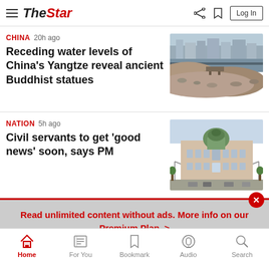The Star — Log In
CHINA 20h ago
Receding water levels of China's Yangtze reveal ancient Buddhist statues
[Figure (photo): Photo of Yangtze river with low water levels showing rocky riverbank and buildings in background]
NATION 5h ago
Civil servants to get 'good news' soon, says PM
[Figure (photo): Photo of a large government building with green dome, street scene with cars]
Read unlimited content without ads. More info on our Premium Plan. >
Home · For You · Bookmark · Audio · Search